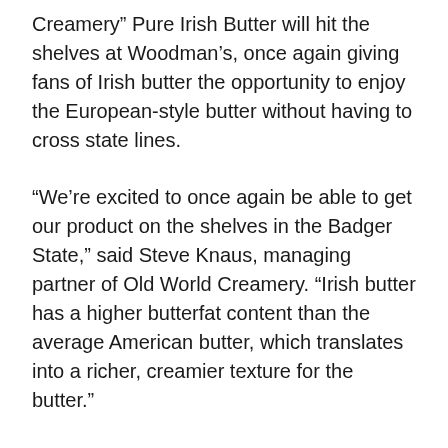Creamery” Pure Irish Butter will hit the shelves at Woodman’s, once again giving fans of Irish butter the opportunity to enjoy the European-style butter without having to cross state lines.
“We’re excited to once again be able to get our product on the shelves in the Badger State,” said Steve Knaus, managing partner of Old World Creamery. “Irish butter has a higher butterfat content than the average American butter, which translates into a richer, creamier texture for the butter.”
Wisconsin has a decades-old state law that requires butter sold in the state to be graded to Wisconsin butter standards. To comply with the state law, Old World Creamery is importing its Irish butter directly from Ireland, then packaging, processing and grading it to Wisconsin standards at its facility in Sheboygan.